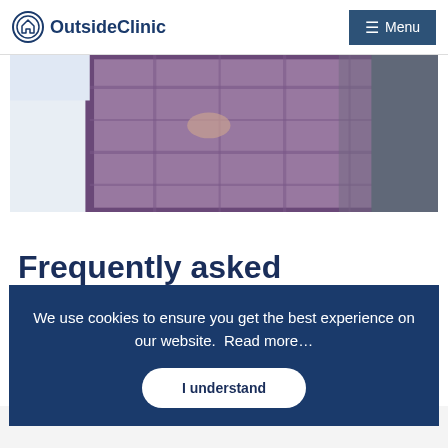OutsideClinic  Menu
[Figure (photo): Partial view of a healthcare professional in white coat sitting next to a patient in a purple/plaid skirt, possibly in a wheelchair. Only lower bodies and hands visible.]
Frequently asked questions
Is ... ey... op...
We use cookies to ensure you get the best experience on our website.  Read more...
I understand